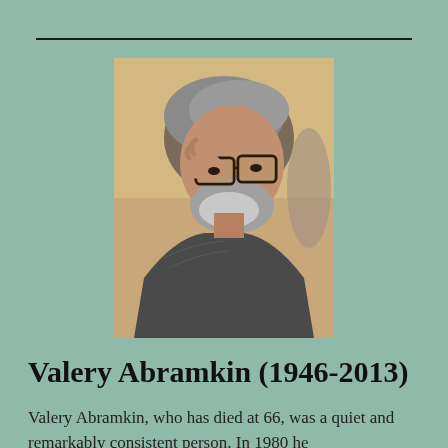[Figure (photo): Black and white / color photo of Valery Abramkin, an older man with grey beard and glasses, adjusting his glasses with one hand, wearing a tweed jacket]
Valery Abramkin (1946-2013)
Valery Abramkin, who has died at 66, was a quiet and remarkably consistent person.  In 1980 he